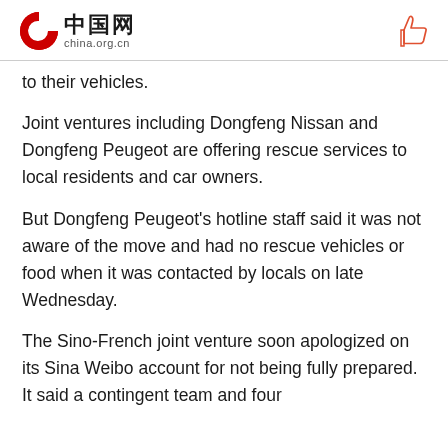中国网 china.org.cn
to their vehicles.
Joint ventures including Dongfeng Nissan and Dongfeng Peugeot are offering rescue services to local residents and car owners.
But Dongfeng Peugeot's hotline staff said it was not aware of the move and had no rescue vehicles or food when it was contacted by locals on late Wednesday.
The Sino-French joint venture soon apologized on its Sina Weibo account for not being fully prepared. It said a contingent team and four